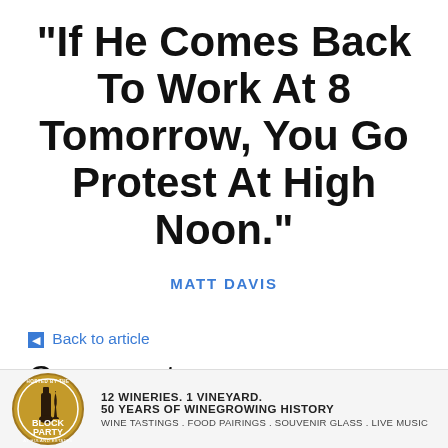"If He Comes Back To Work At 8 Tomorrow, You Go Protest At High Noon."
MATT DAVIS
← Back to article
Comments
Oh, and you forgot to quote Avel Gordly, exhorting Portlanders to change leadership (ie
[Figure (logo): Block Party at Huland Estates wine event logo with badge design]